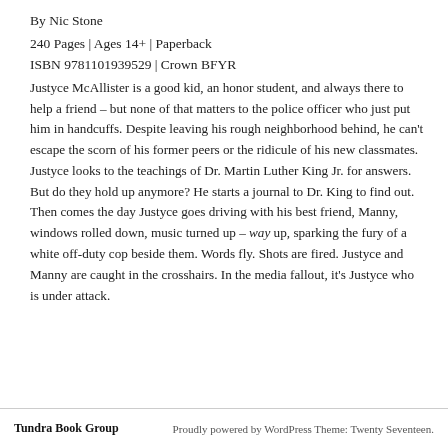By Nic Stone
240 Pages | Ages 14+ | Paperback
ISBN 9781101939529 | Crown BFYR
Justyce McAllister is a good kid, an honor student, and always there to help a friend – but none of that matters to the police officer who just put him in handcuffs. Despite leaving his rough neighborhood behind, he can't escape the scorn of his former peers or the ridicule of his new classmates. Justyce looks to the teachings of Dr. Martin Luther King Jr. for answers. But do they hold up anymore? He starts a journal to Dr. King to find out. Then comes the day Justyce goes driving with his best friend, Manny, windows rolled down, music turned up – way up, sparking the fury of a white off-duty cop beside them. Words fly. Shots are fired. Justyce and Manny are caught in the crosshairs. In the media fallout, it's Justyce who is under attack.
Tundra Book Group   Proudly powered by WordPress Theme: Twenty Seventeen.